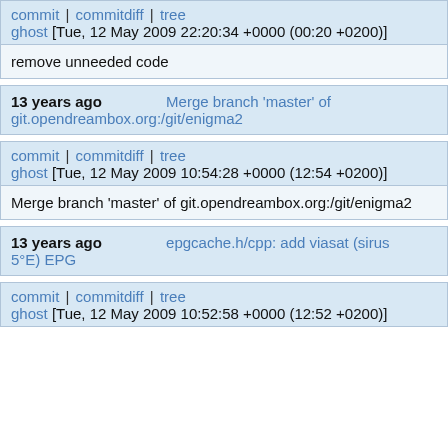commit | commitdiff | tree
ghost [Tue, 12 May 2009 22:20:34 +0000 (00:20 +0200)]
remove unneeded code
13 years ago    Merge branch 'master' of git.opendreambox.org:/git/enigma2
commit | commitdiff | tree
ghost [Tue, 12 May 2009 10:54:28 +0000 (12:54 +0200)]
Merge branch 'master' of git.opendreambox.org:/git/enigma2
13 years ago    epgcache.h/cpp: add viasat (sirus 5°E) EPG
commit | commitdiff | tree
ghost [Tue, 12 May 2009 10:52:58 +0000 (12:52 +0200)]